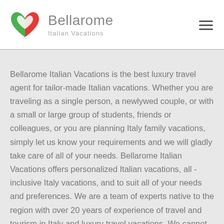[Figure (logo): Bellarome Italian Vacations logo: a heart shape made of green and red overlapping heart halves, next to the text 'Bellarome' in gray and 'Italian Vacations' in light gray below]
Bellarome Italian Vacations is the best luxury travel agent for tailor-made Italian vacations. Whether you are traveling as a single person, a newlywed couple, or with a small or large group of students, friends or colleagues, or you are planning Italy family vacations, simply let us know your requirements and we will gladly take care of all of your needs. Bellarome Italian Vacations offers personalized Italian vacations, all -inclusive Italy vacations, and to suit all of your needs and preferences. We are a team of experts native to the region with over 20 years of experience of travel and tourism in Italy and luxury travel vacations. We cannot wait to help you plan your luxurious Italian vacations. With Bellarome, all you need to do is relax and enjoy your amazing Italian vacations! Whether